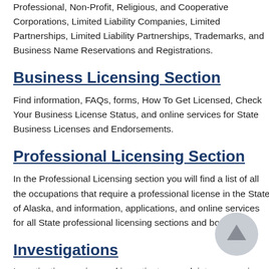Professional, Non-Profit, Religious, and Cooperative Corporations, Limited Liability Companies, Limited Partnerships, Limited Liability Partnerships, Trademarks, and Business Name Reservations and Registrations.
Business Licensing Section
Find information, FAQs, forms, How To Get Licensed, Check Your Business License Status, and online services for State Business Licenses and Endorsements.
Professional Licensing Section
In the Professional Licensing section you will find a list of all the occupations that require a professional license in the State of Alaska, and information, applications, and online services for all State professional licensing sections and boards.
Investigations
Investigations review and investigate complaints concerning violations of the Statutes and Regulations that govern...
[Figure (other): Circular scroll-to-top button with upward arrow, light gray background]